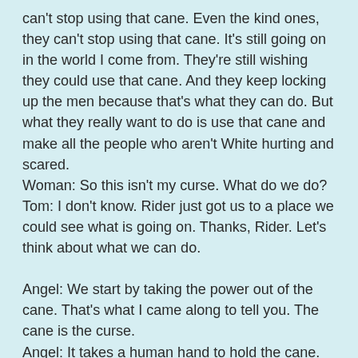can't stop using that cane. Even the kind ones, they can't stop using that cane. It's still going on in the world I come from. They're still wishing they could use that cane. And they keep locking up the men because that's what they can do. But what they really want to do is use that cane and make all the people who aren't White hurting and scared.
Woman: So this isn't my curse. What do we do?
Tom: I don't know. Rider just got us to a place we could see what is going on. Thanks, Rider. Let's think about what we can do.

Angel: We start by taking the power out of the cane. That's what I came along to tell you. The cane is the curse.
Angel: It takes a human hand to hold the cane. You can't stop the cane without holding it. But when you hold the cane, it curses you. Then you have to use the cane. You can't stop until someone takes it out of your hand. And by that time, you're probably dead. Only a very few have put down the cane while they were alive and figured out the truth of the